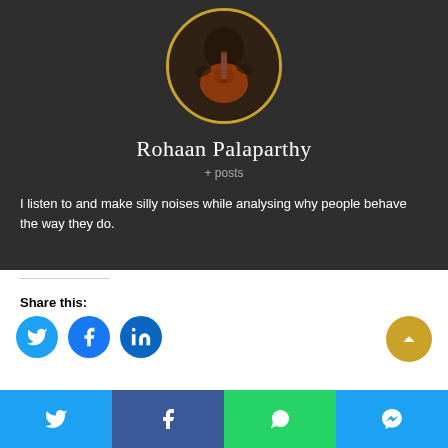[Figure (photo): Circular profile photo of Rohaan Palaparthy playing a red electric guitar, with a gold border, on a dark background]
Rohaan Palaparthy
+ posts
I listen to and make silly noises while analysing why people behave the way they do.
Share this:
[Figure (other): Social share buttons: Twitter (blue circle), Facebook (blue circle), LinkedIn (blue circle), and a yellow scroll-to-top arrow button]
[Figure (other): Bottom share bar with Twitter, Facebook, WhatsApp, and Messenger icons]